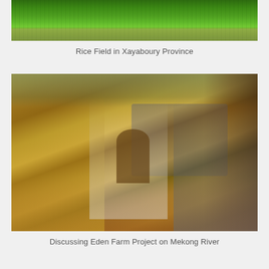[Figure (photo): Aerial or close-up view of a lush green rice field in Xayaboury Province]
Rice Field in Xayaboury Province
[Figure (photo): Three people sitting and discussing on a boat on the Mekong River. Two Asian men and one Western woman in white shirt seated around a table inside a boat with grey chairs.]
Discussing Eden Farm Project on Mekong River